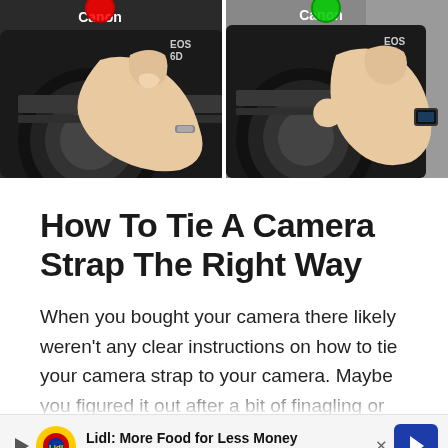[Figure (photo): Two side-by-side photos of hands holding a Canon EOS 6D camera. Left photo has a red circle indicator at top, right photo has a green circle indicator at top.]
How To Tie A Camera Strap The Right Way
When you bought your camera there likely weren't any clear instructions on how to tie your camera strap to your camera. Maybe you figured it out after a bit of finagling or just gave up altogether. Either way, you probably aren't satisfied with how it was done, judging by the fac[t that you're reading this]
[Figure (screenshot): Advertisement banner: Lidl: More Food for Less Money - Lidl, with Lidl yellow circle logo and blue navigation arrow icon]